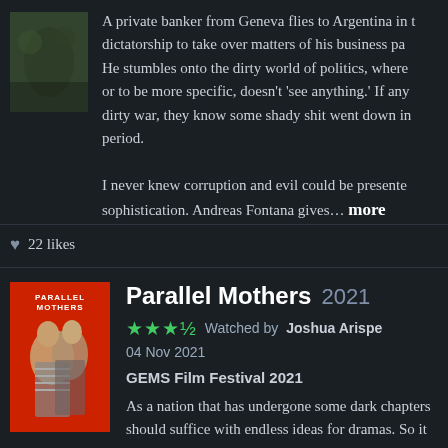[Figure (photo): Movie poster thumbnail top left, small forest/nature scene]
A private banker from Geneva flies to Argentina in the time of dictatorship to take over matters of his business pa... He stumbles onto the dirty world of politics, where... or to be more specific, doesn't 'see anything.' If any... dirty war, they know some shady shit went down in... period.
I never knew corruption and evil could be presented with sophistication. Andreas Fontana gives… more
♥ 22 likes
[Figure (photo): Parallel Mothers 2021 movie poster - red background with two figures embracing]
Parallel Mothers 2021
★★★½  Watched by Joshua Arispe  04 Nov 2021
GEMS Film Festival 2021
As a nation that has undergone some dark chapters... should suffice with endless ideas for dramas. So it s...